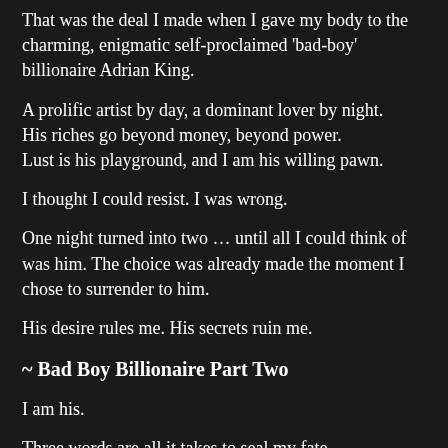That was the deal I made when I gave my body to the charming, enigmatic self-proclaimed 'bad-boy' billionaire Adrian King.
A prolific artist by day, a dominant lover by night.
His riches go beyond money, beyond power.
Lust is his playground, and I am his willing pawn.
I thought I could resist. I was wrong.
One night turned into two … until all I could think of was him. The choice was already made the moment I chose to surrender to him.
His desire rules me. His secrets ruin me.
~ Bad Boy Billionaire Part Two
I am his.
Three words are all it takes to seal my fate.
With the contract signed, the bad boy billionaire, Adrian King...